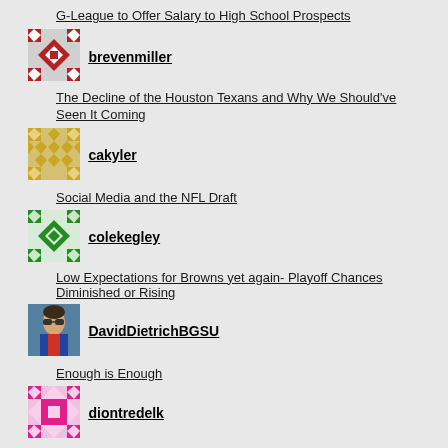G-League to Offer Salary to High School Prospects
[Figure (illustration): Avatar icon for brevenmiller - red and white diamond pattern]
brevenmiller
The Decline of the Houston Texans and Why We Should've Seen It Coming
[Figure (illustration): Avatar icon for cakyler - gold and white diamond pattern]
cakyler
Social Media and the NFL Draft
[Figure (illustration): Avatar icon for colekegley - green and white diamond pattern]
colekegley
Low Expectations for Browns yet again- Playoff Chances Diminished or Rising
[Figure (photo): Photo of DavidDietrichBGSU - person wearing sunglasses]
DavidDietrichBGSU
Enough is Enough
[Figure (illustration): Avatar icon for diontredelk - pink and white diamond pattern]
diontredelk
Beware! Fake High School Recruiters Selling Fake Scholarships!